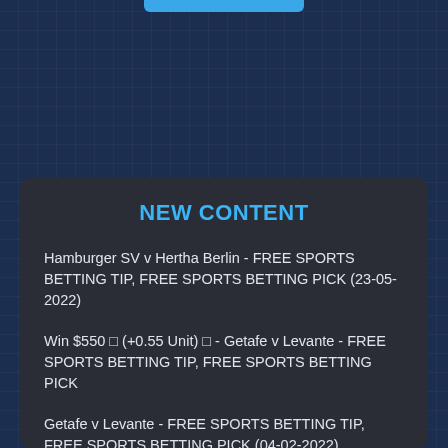NEW CONTENT
Hamburger SV v Hertha Berlin - FREE SPORTS BETTING TIP, FREE SPORTS BETTING PICK (23-05-2022)
Win $550 ◻ (+0.55 Unit) ◻ - Getafe v Levante - FREE SPORTS BETTING TIP, FREE SPORTS BETTING PICK
Getafe v Levante - FREE SPORTS BETTING TIP, FREE SPORTS BETTING PICK (04-02-2022)